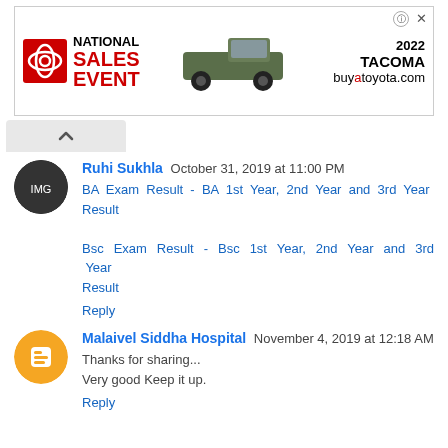[Figure (other): Toyota National Sales Event advertisement banner showing a 2022 Tacoma truck with buyatoyota.com URL]
Ruhi Sukhla  October 31, 2019 at 11:00 PM
BA Exam Result - BA 1st Year, 2nd Year and 3rd Year Result

Bsc Exam Result - Bsc 1st Year, 2nd Year and 3rd Year Result

Reply
Malaivel Siddha Hospital  November 4, 2019 at 12:18 AM
Thanks for sharing...
Very good Keep it up.

Reply